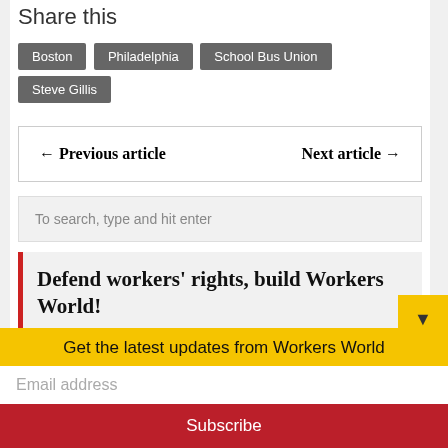Share this
Boston
Philadelphia
School Bus Union
Steve Gillis
← Previous article    Next article →
To search, type and hit enter
Defend workers' rights, build Workers World!
Get the latest updates from Workers World
Email address
Subscribe